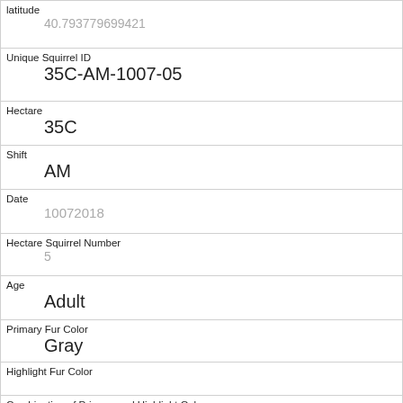| latitude | 40.793779699421 |
| Unique Squirrel ID | 35C-AM-1007-05 |
| Hectare | 35C |
| Shift | AM |
| Date | 10072018 |
| Hectare Squirrel Number | 5 |
| Age | Adult |
| Primary Fur Color | Gray |
| Highlight Fur Color |  |
| Combination of Primary and Highlight Color | Gray+ |
| Color notes |  |